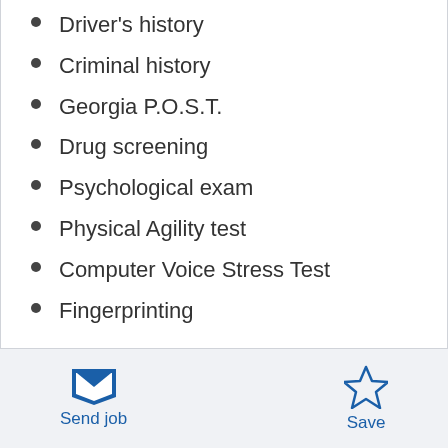Driver's history
Criminal history
Georgia P.O.S.T.
Drug screening
Psychological exam
Physical Agility test
Computer Voice Stress Test
Fingerprinting
Equal Employment Opportunity
Georgia Southern University provides equal